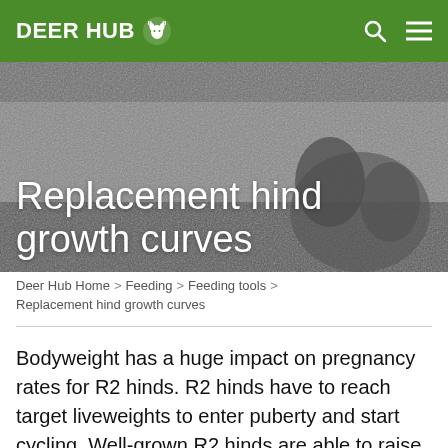DEER HUB
[Figure (photo): Black and white photo of deer grazing, used as hero banner background]
Replacement hind growth curves
Deer Hub Home > Feeding > Feeding tools > Replacement hind growth curves
Bodyweight has a huge impact on pregnancy rates for R2 hinds. R2 hinds have to reach target liveweights to enter puberty and start cycling. Well-grown R2 hinds are able to raise a fawn, but low reproduction rates in poorly grown R2 hinds are a big lost opportunity for deer farmers.